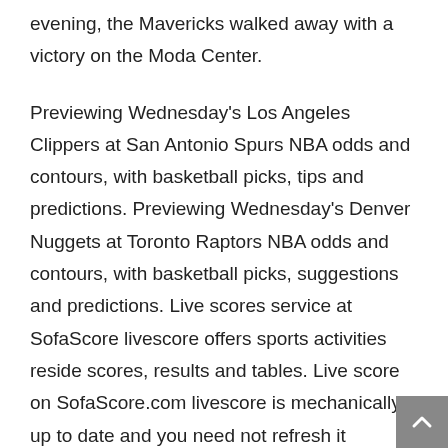evening, the Mavericks walked away with a victory on the Moda Center.
Previewing Wednesday's Los Angeles Clippers at San Antonio Spurs NBA odds and contours, with basketball picks, tips and predictions. Previewing Wednesday's Denver Nuggets at Toronto Raptors NBA odds and contours, with basketball picks, suggestions and predictions. Live scores service at SofaScore livescore offers sports activities reside scores, results and tables. Live score on SofaScore.com livescore is mechanically up to date and you need not refresh it manually. With including games you need to comply with in “My games” following your matches livescores, outcomes and statistics might be much more easy.